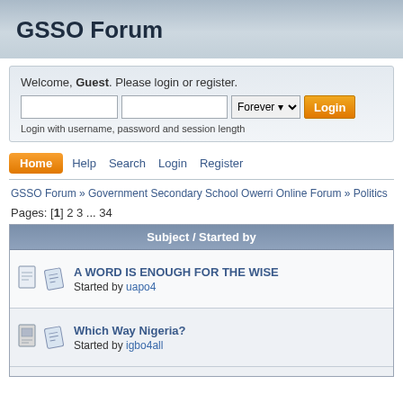GSSO Forum
Welcome, Guest. Please login or register.
Login with username, password and session length
Home   Help   Search   Login   Register
GSSO Forum » Government Secondary School Owerri Online Forum » Politics
Pages: [1] 2 3 ... 34
| Subject / Started by |
| --- |
| A WORD IS ENOUGH FOR THE WISE
Started by uapo4 |
| Which Way Nigeria?
Started by igbo4all |